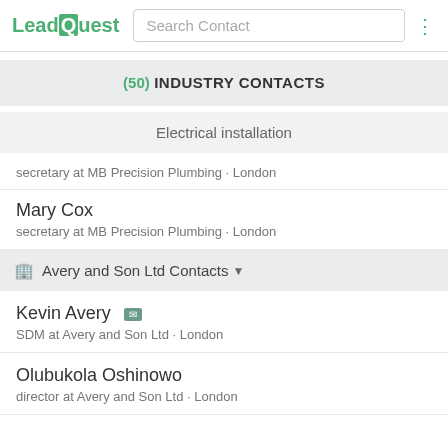LeadQuest | Search Contact
(50) INDUSTRY CONTACTS
Electrical installation
secretary at MB Precision Plumbing · London
Mary Cox
secretary at MB Precision Plumbing · London
Avery and Son Ltd Contacts
Kevin Avery
SDM at Avery and Son Ltd · London
Olubukola Oshinowo
director at Avery and Son Ltd · London